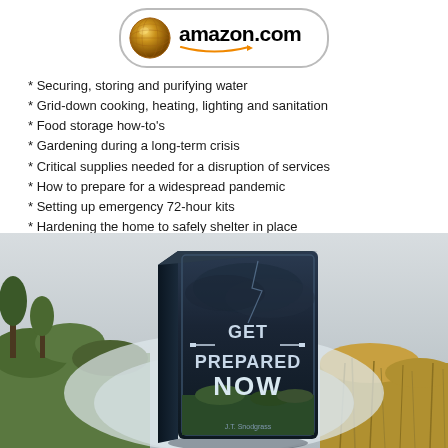[Figure (logo): Amazon.com logo with globe icon inside a rounded rectangle badge]
* Securing, storing and purifying water
* Grid-down cooking, heating, lighting and sanitation
* Food storage how-to's
* Gardening during a long-term crisis
* Critical supplies needed for a disruption of services
* How to prepare for a widespread pandemic
* Setting up emergency 72-hour kits
* Hardening the home to safely shelter in place
* Bartering skill-sets and goods
* Bugging out & relocation
[Figure (photo): Book cover of 'Get Prepared Now' shown as a 3D book with dark stormy sky background, set against an outdoor landscape with grasses and fog]